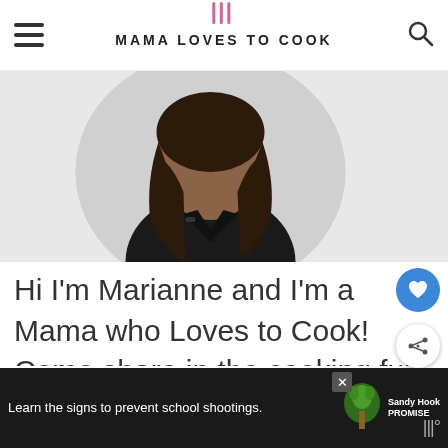MAMA LOVES TO COOK
[Figure (photo): Circular profile photo of a woman with dark hair wearing a black top, smiling, on a light gray background]
Hi I'm Marianne and I'm a Mama who Loves to Cook! Come share in the cooking fun as I search for recipes for easy family dinners,
[Figure (infographic): What's Next panel showing ABC Muffins (Apple Bana...) with a muffin image]
[Figure (infographic): Advertisement banner: Learn the signs to prevent school shootings. Sandy Hook Promise logo.]